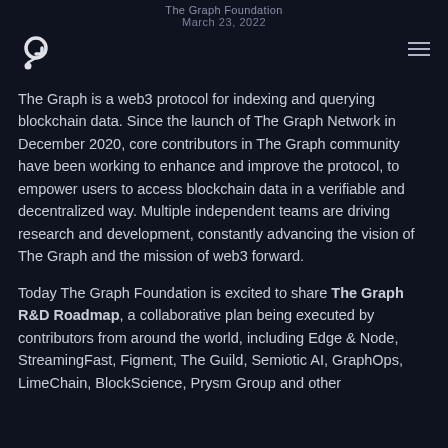The Graph Foundation
March 23, 2022
[Figure (logo): The Graph logo - stylized 'G' letter in white on dark background, top-left corner]
The Graph is a web3 protocol for indexing and querying blockchain data. Since the launch of The Graph Network in December 2020, core contributors in The Graph community have been working to enhance and improve the protocol, to empower users to access blockchain data in a verifiable and decentralized way. Multiple independent teams are driving research and development, constantly advancing the vision of The Graph and the mission of web3 forward.
Today The Graph Foundation is excited to share The Graph R&D Roadmap, a collaborative plan being executed by contributors from around the world, including Edge & Node, StreamingFast, Figment, The Guild, Semiotic AI, GraphOps, LimeChain, BlockScience, Prysm Group and other